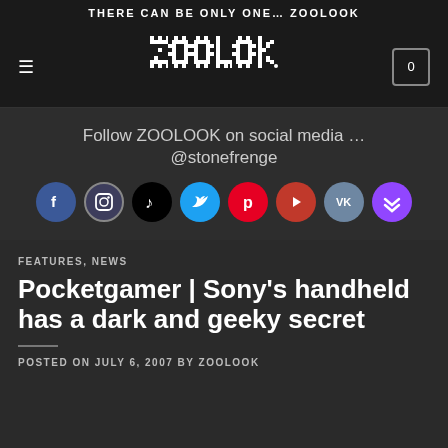THERE CAN BE ONLY ONE… ZOOLOOK
[Figure (logo): ZOOLOOK gothic blocky logo in white with hamburger menu icon on left and cart icon with 0 on right, on dark background]
Follow ZOOLOOK on social media … @stonefrenge
[Figure (infographic): Row of 8 social media icons: Facebook (blue), Instagram (dark), TikTok (black), Twitter (blue), Pinterest (red), YouTube (red), VK (grey-blue), Twitch (purple)]
FEATURES, NEWS
Pocketgamer | Sony's handheld has a dark and geeky secret
POSTED ON JULY 6, 2007 BY ZOOLOOK